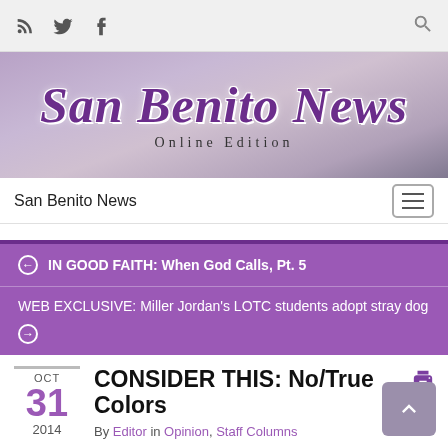San Benito News - Online Edition (header with social icons)
[Figure (logo): San Benito News logo banner with purple serif title text and 'Online Edition' subtitle on a purple/grey cityscape background]
San Benito News (nav bar with hamburger menu)
IN GOOD FAITH: When God Calls, Pt. 5
WEB EXCLUSIVE: Miller Jordan's LOTC students adopt stray dog
CONSIDER THIS: No/True Colors
By Editor in Opinion, Staff Columns
OCT 31 2014
By MICHAEL RODRIGUEZ
Managing Editor